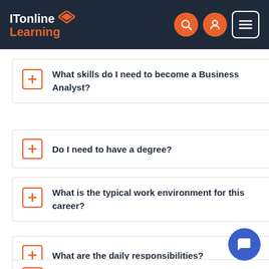ITonline Learning
What skills do I need to become a Business Analyst?
Do I need to have a degree?
What is the typical work environment for this career?
What are the daily responsibilities?
What is the difference between a...